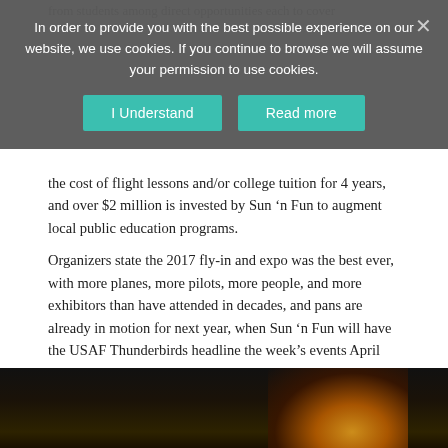In order to provide you with the best possible experience on our website, we use cookies. If you continue to browse we will assume your permission to use cookies.
[Figure (screenshot): Cookie consent overlay with two teal buttons: 'I Understand' and 'Read more', with a close X in the top right.]
the cost of flight lessons and/or college tuition for 4 years, and over $2 million is invested by Sun 'n Fun to augment local public education programs.
Organizers state the 2017 fly-in and expo was the best ever, with more planes, more pilots, more people, and more exhibitors than have attended in decades, and pans are already in motion for next year, when Sun 'n Fun will have the USAF Thunderbirds headline the week's events April 10-15, 2018.
– Photography Credit: John Studwell and Mike Killian for Aviation Photography Digest
[Figure (photo): Dark photograph showing a glowing light effect, likely an aircraft at night with engine or light trail visible.]